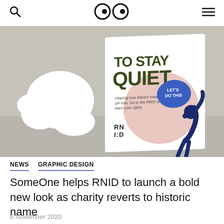🔍  👀  ≡
[Figure (photo): A photograph of an RNID poster/booklet leaning against a grey surface, showing bold green text 'TO STAY QUIET', a blue speech bubble saying 'LET'S DO THIS', a cartoon illustration of a person in a cap pointing, and the RNID logo. A white speech-bubble shaped cutout is visible to the left.]
NEWS   GRAPHIC DESIGN
SomeOne helps RNID to launch a bold new look as charity reverts to historic name
6 November 2020